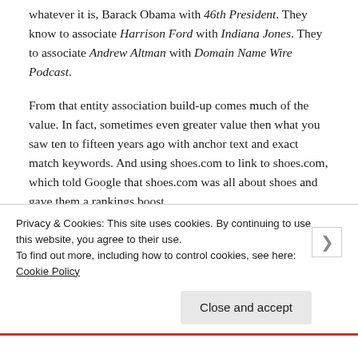whatever it is, Barack Obama with 46th President. They know to associate Harrison Ford with Indiana Jones. They to associate Andrew Altman with Domain Name Wire Podcast.
From that entity association build-up comes much of the value. In fact, sometimes even greater value then what you saw ten to fifteen years ago with anchor text and exact match keywords. And using shoes.com to link to shoes.com, which told Google that shoes.com was all about shoes and gave them a rankings boost.
Privacy & Cookies: This site uses cookies. By continuing to use this website, you agree to their use.
To find out more, including how to control cookies, see here: Cookie Policy